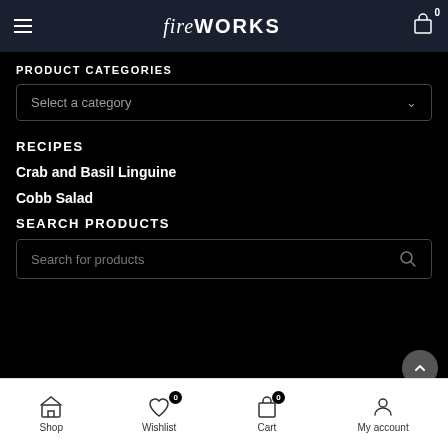fireWORKS
PRODUCT CATEGORIES
Select a category
RECIPES
Crab and Basil Linguine
Cobb Salad
SEARCH PRODUCTS
Search for products
Shop  Wishlist 0  Cart 0  My account